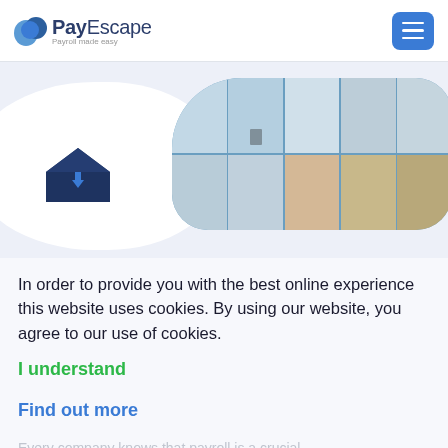PayEscape — Payroll made easy
[Figure (screenshot): PayEscape website screenshot showing hero area with office building grid photo and envelope icon on white blob background]
In order to provide you with the best online experience this website uses cookies. By using our website, you agree to our use of cookies.
I understand
Find out more
Every company knows that payroll is a crucial